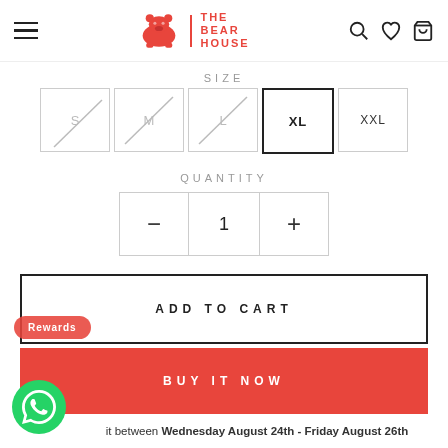[Figure (logo): The Bear House logo — red bear icon with vertical red line and red text 'THE BEAR HOUSE']
SIZE
S  M  L  XL  XXL
QUANTITY
1
ADD TO CART
Rewards
BUY IT NOW
it between Wednesday August 24th - Friday August 26th